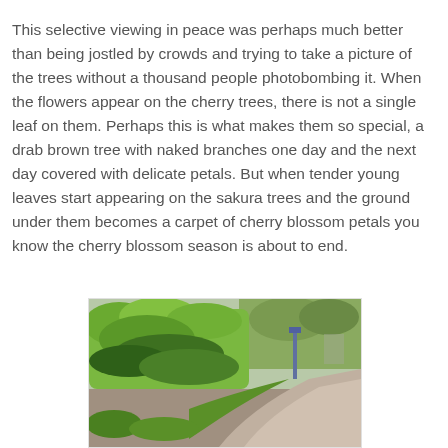This selective viewing in peace was perhaps much better than being jostled by crowds and trying to take a picture of the trees without a thousand people photobombing it. When the flowers appear on the cherry trees, there is not a single leaf on them. Perhaps this is what makes them so special, a drab brown tree with naked branches one day and the next day covered with delicate petals. But when tender young leaves start appearing on the sakura trees and the ground under them becomes a carpet of cherry blossom petals you know the cherry blossom season is about to end.
[Figure (photo): A garden path curving to the right with lush green bushes and plants lining the left side, a street lamp in the background, and a gravel or paved pathway.]